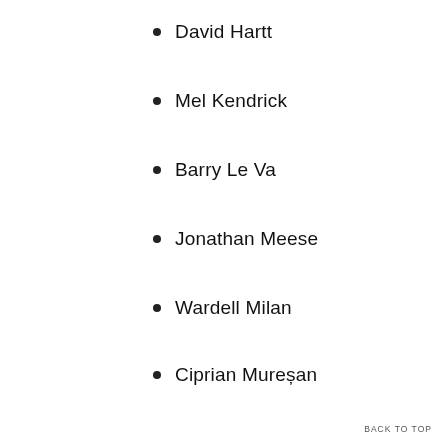David Hartt
Mel Kendrick
Barry Le Va
Jonathan Meese
Wardell Milan
Ciprian Mureșan
Jim Nutt
Christina Ramberg
Eugen Schönebeck
Jorinde Voigt
Dorothea Rockburne
Ray Yoshida
Rodrigo Moynihan
Paulo Pasta
Chakaia Booker
BACK TO TOP